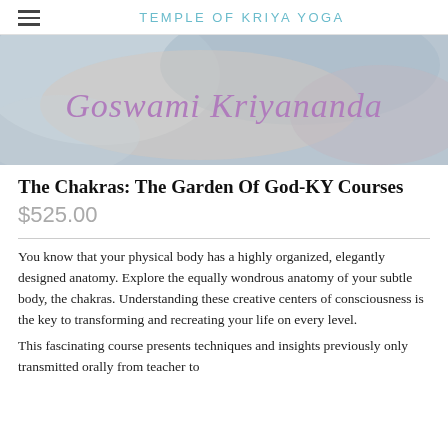TEMPLE OF KRIYA YOGA
[Figure (illustration): Book cover image showing Goswami Kriyananda text in purple/lavender lettering on a soft abstract background with muted blue and warm tones]
The Chakras: The Garden Of God-KY Courses
$525.00
You know that your physical body has a highly organized, elegantly designed anatomy. Explore the equally wondrous anatomy of your subtle body, the chakras. Understanding these creative centers of consciousness is the key to transforming and recreating your life on every level.
This fascinating course presents techniques and insights previously only transmitted orally from teacher to